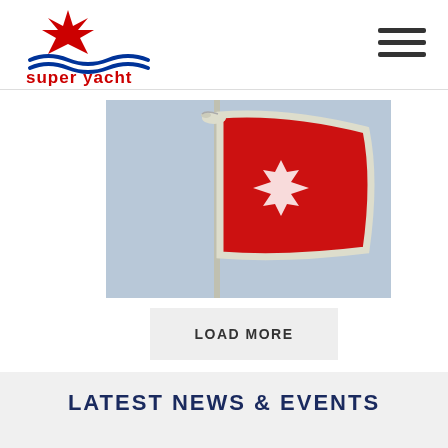[Figure (logo): Super Yacht Industry Network Malta logo with red star and blue waves]
[Figure (photo): Red Maltese flag with white Maltese cross flying on a pole, with a seagull perched on top, against a grey sky]
LOAD MORE
LATEST NEWS & EVENTS